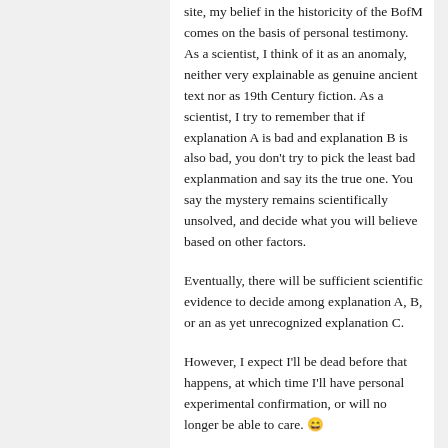site, my belief in the historicity of the BofM comes on the basis of personal testimony. As a scientist, I think of it as an anomaly, neither very explainable as genuine ancient text nor as 19th Century fiction. As a scientist, I try to remember that if explanation A is bad and explanation B is also bad, you don't try to pick the least bad explanmation and say its the true one. You say the mystery remains scientifically unsolved, and decide what you will believe based on other factors.
Eventually, there will be sufficient scientific evidence to decide among explanation A, B, or an as yet unrecognized explanation C.
However, I expect I'll be dead before that happens, at which time I'll have personal experimental confirmation, or will no longer be able to care. 😀
Reply ↩